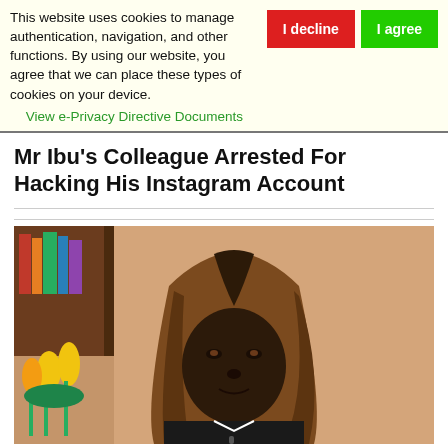This website uses cookies to manage authentication, navigation, and other functions. By using our website, you agree that we can place these types of cookies on your device.
View e-Privacy Directive Documents
I decline
I agree
Mr Ibu’s Colleague Arrested For Hacking His Instagram Account
[Figure (photo): A man wearing a long brown wig, dressed in dark clothing with a white shirt, looking at the camera with a slight smile. Behind him are yellow tulips and what appears to be a bookshelf.]